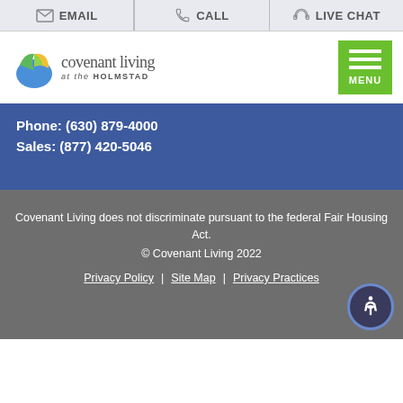EMAIL | CALL | LIVE CHAT
[Figure (logo): Covenant Living at the Holmstad logo with green/blue/yellow circular icon]
Phone: (630) 879-4000
Sales: (877) 420-5046
Covenant Living does not discriminate pursuant to the federal Fair Housing Act.
© Covenant Living 2022
Privacy Policy | Site Map | Privacy Practices